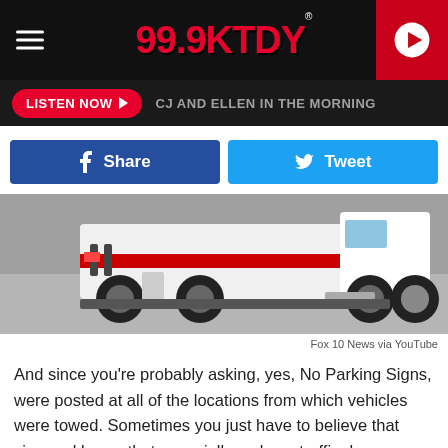99.9KTDY
LISTEN NOW ▶  CJ AND ELLEN IN THE MORNING
Share  Tweet
[Figure (photo): A white tow truck driving on a road, seen from behind/side, showing rear wheels and body.]
Fox 10 News via YouTube
And since you're probably asking, yes, No Parking Signs, were posted at all of the locations from which vehicles were towed. Sometimes you just have to believe that sign and know, that especially on busy traffic days, you will be put on the hook if you park where you don't belong.
As you might imagine somebody has to pay to have a vehicle